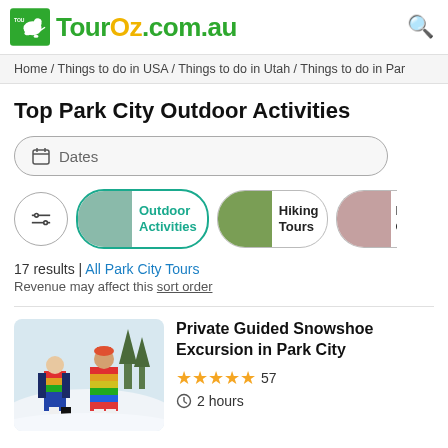TourOz.com.au
Home / Things to do in USA / Things to do in Utah / Things to do in Par
Top Park City Outdoor Activities
Dates
Outdoor Activities
Hiking Tours
Fu Ga
17 results | All Park City Tours
Revenue may affect this sort order
[Figure (photo): Two people in colorful jackets standing in snowy landscape with trees]
Private Guided Snowshoe Excursion in Park City
★★★★★ 57
⊙ 2 hours